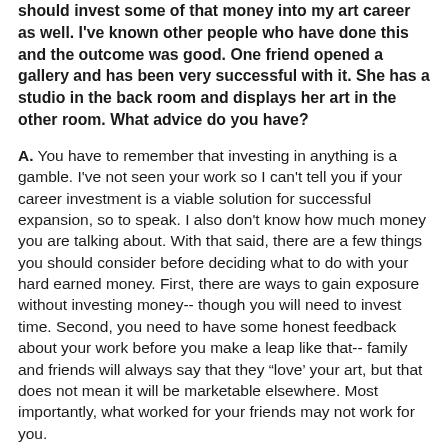should invest some of that money into my art career as well. I've known other people who have done this and the outcome was good. One friend opened a gallery and has been very successful with it. She has a studio in the back room and displays her art in the other room. What advice do you have?
A. You have to remember that investing in anything is a gamble. I've not seen your work so I can't tell you if your career investment is a viable solution for successful expansion, so to speak. I also don't know how much money you are talking about. With that said, there are a few things you should consider before deciding what to do with your hard earned money. First, there are ways to gain exposure without investing money-- though you will need to invest time. Second, you need to have some honest feedback about your work before you make a leap like that-- family and friends will always say that they “love’ your art, but that does not mean it will be marketable elsewhere. Most importantly, what worked for your friends may not work for you.
There...